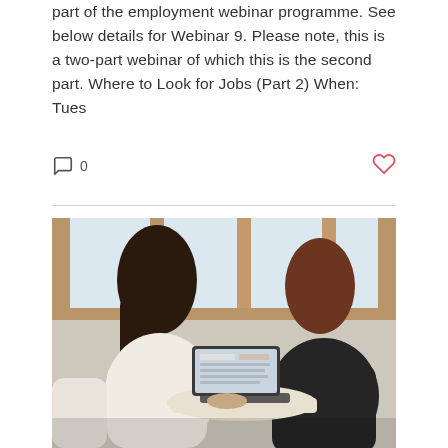part of the employment webinar programme. See below details for Webinar 9. Please note, this is a two-part webinar of which this is the second part. Where to Look for Jobs (Part 2) When: Tues
[Figure (photo): Two women seen from behind, sitting at a table with a laptop open, in front of large windows with wooden frames. One has long dark hair and wears a white top; the other has reddish-brown hair and wears a dark sweater.]